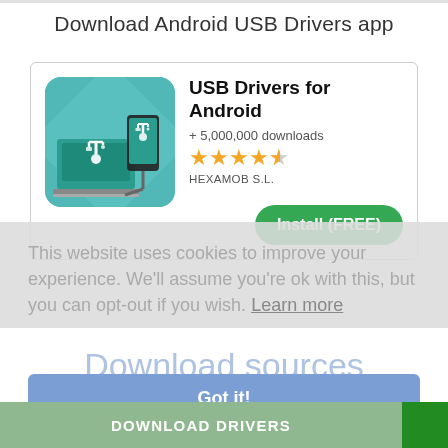Download Android USB Drivers app
[Figure (screenshot): App store card showing USB Drivers for Android app with icon (laptop and phone with USB symbol on teal background), title 'USB Drivers for Android', '+ 5,000,000 downloads', 4.5 star rating, publisher 'HEXAMOB S.L.', and green 'Install (FREE)' button]
This website uses cookies to improve your experience. We'll assume you're ok with this, but you can opt-out if you wish. Learn more
Download sources
Got it!
DOWNLOAD DRIVERS